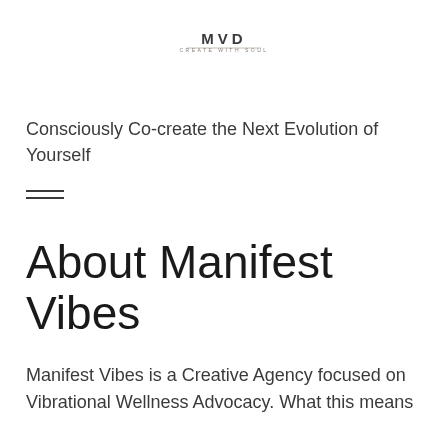[Figure (logo): MVD / Manifest Vibes logo with text CREATE WITH SOUL below]
Consciously Co-create the Next Evolution of Yourself
—
About Manifest Vibes
Manifest Vibes is a Creative Agency focused on Vibrational Wellness Advocacy. What this means